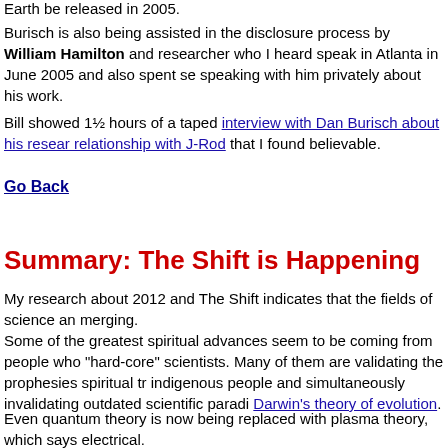Earth be released in 2005.
Burisch is also being assisted in the disclosure process by William Hamilton and researcher who I heard speak in Atlanta in June 2005 and also spent se speaking with him privately about his work.
Bill showed 1½ hours of a taped interview with Dan Burisch about his resear relationship with J-Rod that I found believable.
Go Back
Summary: The Shift is Happening
My research about 2012 and The Shift indicates that the fields of science an merging.
Some of the greatest spiritual advances seem to be coming from people who "hard-core" scientists. Many of them are validating the prophesies spiritual tr indigenous people and simultaneously invalidating outdated scientific paradi Darwin's theory of evolution.
Even quantum theory is now being replaced with plasma theory, which says electrical.
Prophesy is slowly becoming fact and science is supporting it.